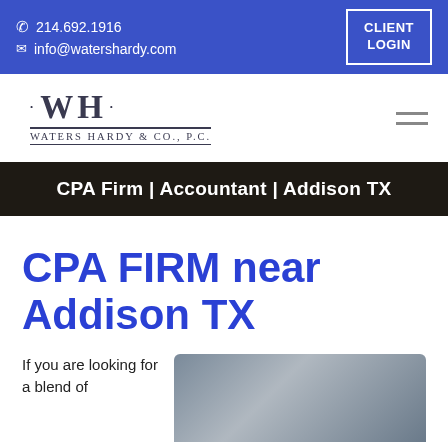214.692.1916 | info@watershardy.com | CLIENT LOGIN
[Figure (logo): Waters Hardy & Co., P.C. logo with WH monogram and decorative dots]
CPA Firm | Accountant | Addison TX
CPA FIRM near Addison TX
If you are looking for a blend of
[Figure (photo): Photo of a smiling person, partially visible]